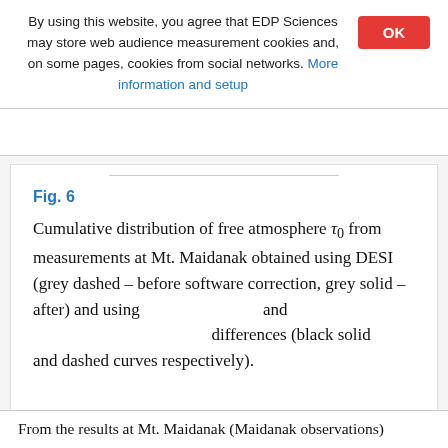By using this website, you agree that EDP Sciences may store web audience measurement cookies and, on some pages, cookies from social networks. More information and setup
Fig. 6
Cumulative distribution of free atmosphere τ₀ from measurements at Mt. Maidanak obtained using DESI (grey dashed – before software correction, grey solid – after) and using and differences (black solid and dashed curves respectively).
From the results at Mt. Maidanak (Maidanak observations...